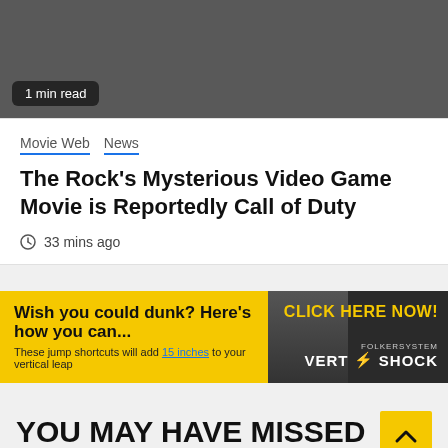[Figure (photo): Dark gray image placeholder at top of page with '1 min read' badge overlay]
1 min read
Movie Web  News
The Rock's Mysterious Video Game Movie is Reportedly Call of Duty
33 mins ago
[Figure (infographic): Advertisement banner: 'Wish you could dunk? Here's how you can... These jump shortcuts will add 15 inches to your vertical leap. CLICK HERE NOW! FOLKERSYSTEM VERT SHOCK']
YOU MAY HAVE MISSED
[Figure (photo): Dark gray image placeholder at bottom of page]